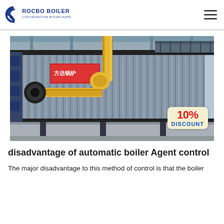ROCBO BOILER — COST-EFFECTIVE BOILER SUPPLIER
[Figure (photo): Industrial boiler unit with yellow gas pipes in a factory setting, with a '10% DISCOUNT' badge overlay in the bottom right corner.]
disadvantage of automatic boiler Agent control
The major disadvantage to this method of control is that the boiler